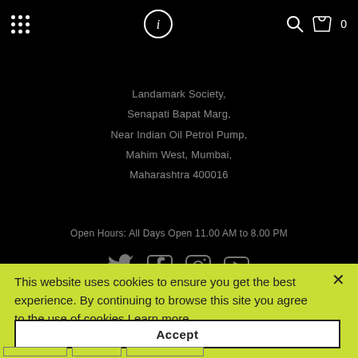Navigation bar with grid menu icon, circular logo with i, search icon, and cart icon with 0
Landamark Society,
Senapati Bapat Marg,
Near Indian Oil Petrol Pump,
Mahim West, Mumbai,
Maharashtra 400016
Open Hours: All Days Open 11.00 AM to 8.00 PM
[Figure (other): Social media icons row: Twitter, Facebook, Instagram, YouTube]
This website uses cookies to ensure you get the best experience. By continuing to browse this site you agree to the use of cookies Learn more
Accept